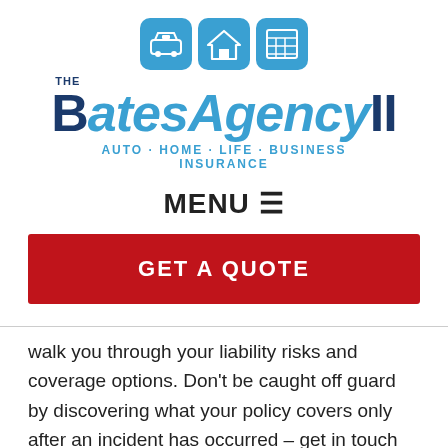[Figure (logo): The Bates Agency II logo with three blue rounded square icons (car, house, building) above the text 'THE BatesAgencyII' and tagline 'AUTO · HOME · LIFE · BUSINESS INSURANCE']
MENU ☰
GET A QUOTE
walk you through your liability risks and coverage options. Don't be caught off guard by discovering what your policy covers only after an incident has occurred – get in touch with us for insurance advice you can trust